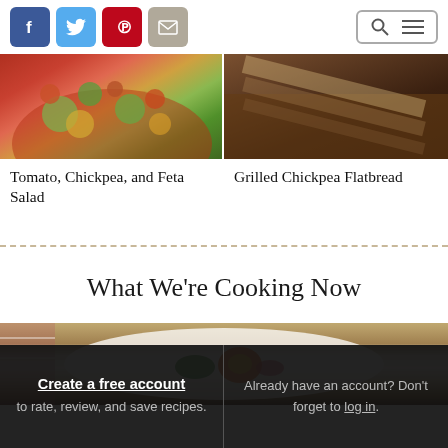[Figure (screenshot): Social media icon buttons: Facebook (blue), Twitter (light blue), Pinterest (red), Email/mail (gray)]
[Figure (photo): Food photo: Tomato, Chickpea, and Feta Salad in a red bowl with colorful vegetables]
Tomato, Chickpea, and Feta Salad
[Figure (photo): Food photo: Grilled Chickpea Flatbread on a dark brown surface]
Grilled Chickpea Flatbread
What We're Cooking Now
[Figure (photo): Food photo: white bowl with colorful food ingredients on wooden surface]
Create a free account to rate, review, and save recipes.
Already have an account? Don't forget to log in.